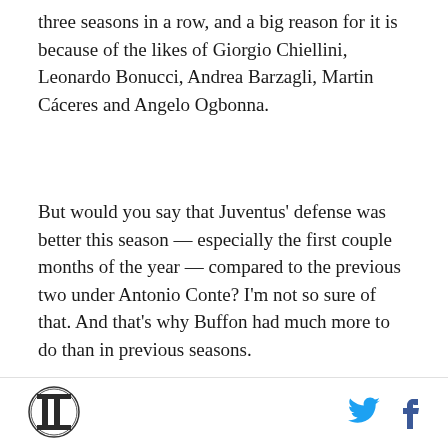three seasons in a row, and a big reason for it is because of the likes of Giorgio Chiellini, Leonardo Bonucci, Andrea Barzagli, Martin Cáceres and Angelo Ogbonna.
But would you say that Juventus' defense was better this season — especially the first couple months of the year — compared to the previous two under Antonio Conte? I'm not so sure of that. And that's why Buffon had much more to do than in previous seasons.
More shots faced, more shots needing to be saved. It was the third straight year that Juve statistically had the best defense in all of Serie A, but they also had a decent amount of hiccups.
Logo and social share icons